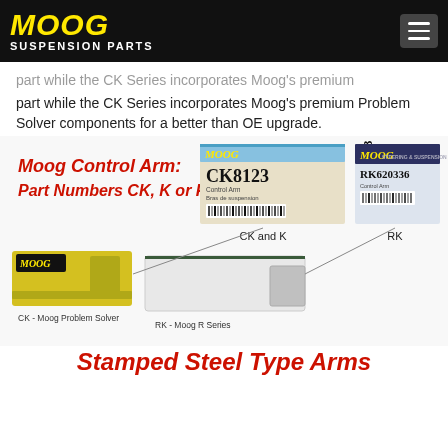MOOG SUSPENSION PARTS
part while the CK Series incorporates Moog's premium Problem Solver components for a better than OE upgrade.
[Figure (infographic): Moog Control Arm part number diagram showing CK8123 (CK and K series) and RK620336 (RK series) product boxes with labels. CK - Moog Problem Solver, RK - Moog R Series.]
Stamped Steel Type Arms